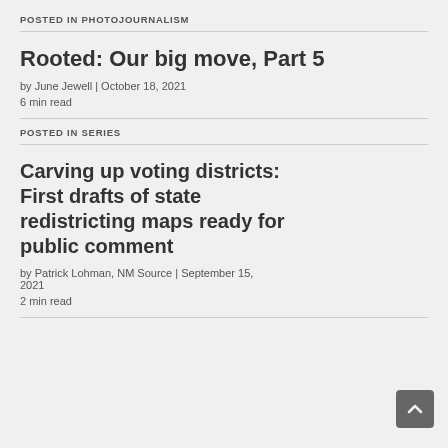POSTED IN PHOTOJOURNALISM
Rooted: Our big move, Part 5
by June Jewell | October 18, 2021
6 min read
POSTED IN SERIES
Carving up voting districts: First drafts of state redistricting maps ready for public comment
by Patrick Lohman, NM Source | September 15, 2021
2 min read